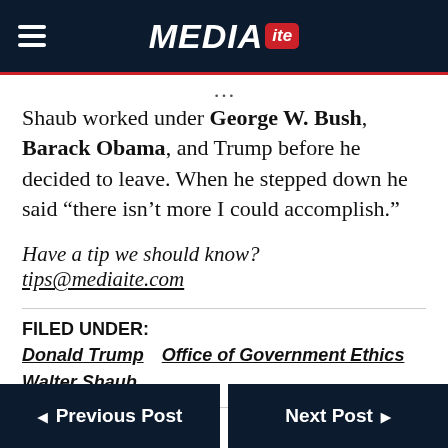MEDIAITE
Shaub worked under George W. Bush, Barack Obama, and Trump before he decided to leave. When he stepped down he said “there isn’t more I could accomplish.”
Have a tip we should know? tips@mediaite.com
FILED UNDER:
Donald Trump
Office of Government Ethics
Walter Shaub
Previous Post | Next Post